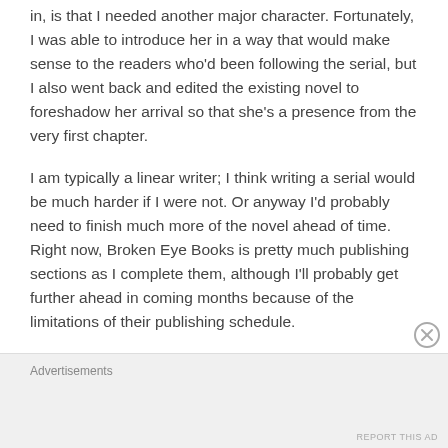in, is that I needed another major character. Fortunately, I was able to introduce her in a way that would make sense to the readers who'd been following the serial, but I also went back and edited the existing novel to foreshadow her arrival so that she's a presence from the very first chapter.
I am typically a linear writer; I think writing a serial would be much harder if I were not. Or anyway I'd probably need to finish much more of the novel ahead of time. Right now, Broken Eye Books is pretty much publishing sections as I complete them, although I'll probably get further ahead in coming months because of the limitations of their publishing schedule.
Advertisements